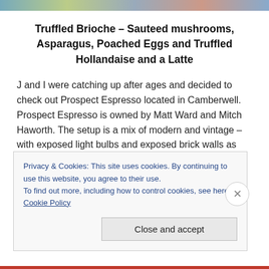[Figure (photo): Partial image visible at the top of the page as a colored horizontal strip]
Truffled Brioche – Sauteed mushrooms, Asparagus, Poached Eggs and Truffled Hollandaise and a Latte
J and I were catching up after ages and decided to check out Prospect Espresso located in Camberwell. Prospect Espresso is owned by Matt Ward and Mitch Haworth. The setup is a mix of modern and vintage – with exposed light bulbs and exposed brick walls as well as large front window letting loads of light in while you are sipping on that perfect coffee and savouring the delicious but simple
Privacy & Cookies: This site uses cookies. By continuing to use this website, you agree to their use.
To find out more, including how to control cookies, see here: Cookie Policy
Close and accept